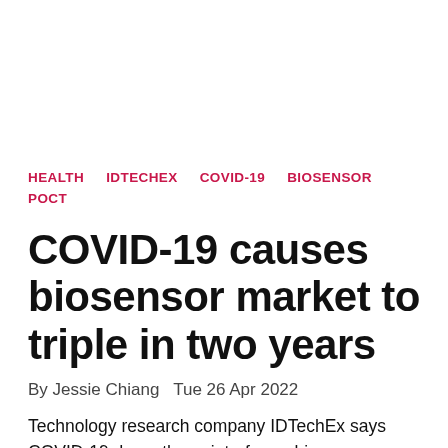HEALTH    IDTECHEX    COVID-19    BIOSENSOR    POCT
COVID-19 causes biosensor market to triple in two years
By Jessie Chiang   Tue 26 Apr 2022
Technology research company IDTechEx says COVID-19 drove the point-of-care biosensors industry to grow by over 300%